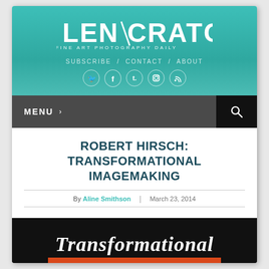[Figure (logo): Lenscratch logo with teal background, large white text LENSCRATCH with slash, subtitle FINE ART PHOTOGRAPHY DAILY]
SUBSCRIBE / CONTACT / ABOUT
[Figure (infographic): Social media icons: Twitter, Facebook, Tumblr, Instagram, RSS feed — white circle icons on teal]
MENU >
ROBERT HIRSCH: TRANSFORMATIONAL IMAGEMAKING
By Aline Smithson | March 23, 2014
[Figure (photo): Black background book cover image with script text 'Transformational' in white and 'IMAGEMAKING' in white text on orange/red banner]